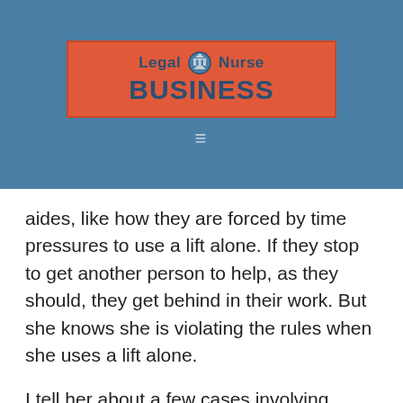[Figure (logo): Legal Nurse Business logo on a steel blue header bar with hamburger menu icon]
aides, like how they are forced by time pressures to use a lift alone. If they stop to get another person to help, as they should, they get behind in their work. But she knows she is violating the rules when she uses a lift alone.
I tell her about a few cases involving patients who fell out of lifts. She hangs on every word.
Successful Nurs…